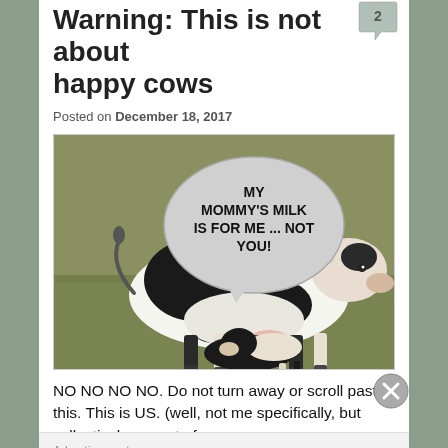Warning: This is not about happy cows
Posted on December 18, 2017
[Figure (photo): A black and white cow with a calf nursing underneath in a grassy field. A speech bubble overlay reads: MY MOMMY'S MILK IS FOR ME ... NOT YOU!]
NO NO NO NO. Do not turn away or scroll past this. This is US. (well, not me specifically, but collectively as part of
Advertisements